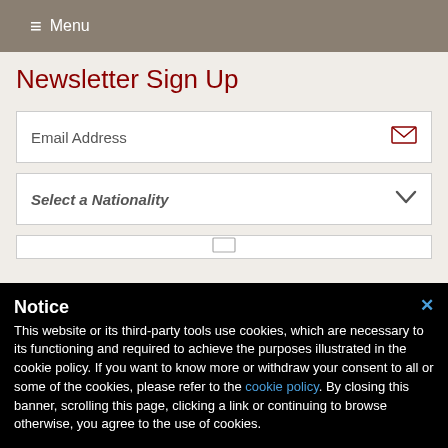≡ Menu
Newsletter Sign Up
Email Address
Select a Nationality
Notice
This website or its third-party tools use cookies, which are necessary to its functioning and required to achieve the purposes illustrated in the cookie policy. If you want to know more or withdraw your consent to all or some of the cookies, please refer to the cookie policy. By closing this banner, scrolling this page, clicking a link or continuing to browse otherwise, you agree to the use of cookies.